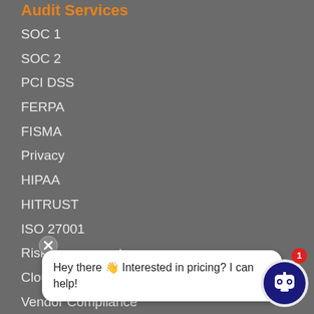Audit Services
SOC 1
SOC 2
PCI DSS
FERPA
FISMA
Privacy
HIPAA
HITRUST
ISO 27001
Risk Assessment
Cloud Security
Vendor Compliance
SOC Cybersecurity
CFPB Mo...
Pen Test
[Figure (other): Chatbot popup overlay with robot avatar, close button, red badge with number 1, and speech bubble text: 'Hey there 👋 Interested in pricing? I can help!']